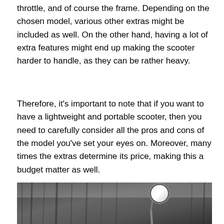throttle, and of course the frame. Depending on the chosen model, various other extras might be included as well. On the other hand, having a lot of extra features might end up making the scooter harder to handle, as they can be rather heavy.
Therefore, it's important to note that if you want to have a lightweight and portable scooter, then you need to carefully consider all the pros and cons of the model you've set your eyes on. Moreover, many times the extras determine its price, making this a budget matter as well.
[Figure (photo): Black and white photograph showing a scooter mirror in the foreground with a forested background. The circular mirror is mounted on a thin stem and reflects light.]